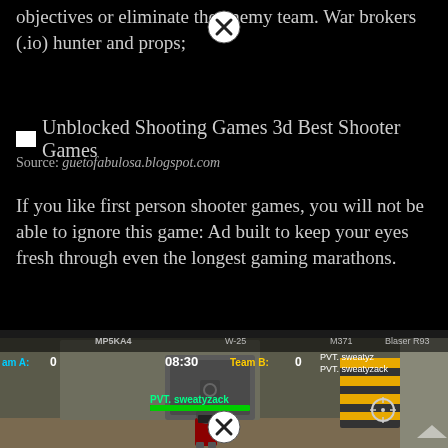objectives or eliminate the enemy team. War brokers (.io) hunter and props;
[Figure (screenshot): Image placeholder icon with text: Unblocked Shooting Games 3d Best Shooter Games]
Source: guetofabulosa.blogspot.com
If you like first person shooter games, you will not be able to ignore this game: Ad built to keep your eyes fresh through even the longest gaming marathons.
[Figure (screenshot): Screenshot of a first-person shooter game showing Team A score 0 vs Team B score 0, timer 08:30, player name PVT. sweatyzack with health bar, armed characters in a military environment]